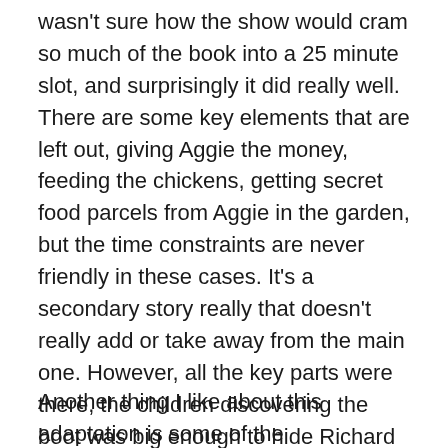wasn't sure how the show would cram so much of the book into a 25 minute slot, and surprisingly it did really well. There are some key elements that are left out, giving Aggie the money, feeding the chickens, getting secret food parcels from Aggie in the garden, but the time constraints are never friendly in these cases. It's a secondary story really that doesn't really add or take away from the main one. However, all the key parts were there, the children discovering the boot was big enough to hide Richard in, Julian exploring the house at night and finding the secret room where Western was hiding so that he could put the others in there for safety, and not to mention Richard making a dash for it out of the car and running away from Perton, straight into the police station.
Another thing I like about this adaptation is some of the